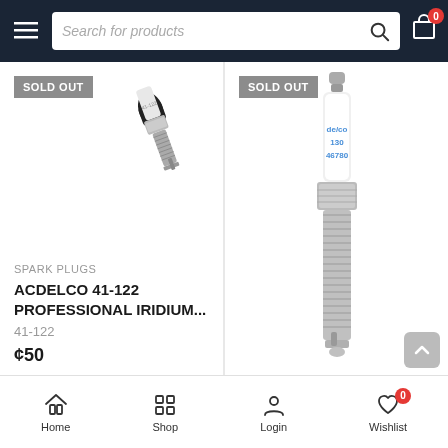[Figure (screenshot): E-commerce product listing page showing two spark plug products both marked as SOLD OUT, with search bar navigation and bottom navigation bar]
Search for products
SOLD OUT
[Figure (photo): ACDelco 41-122 spark plug lying diagonally on white background]
SPARK PLUGS
ACDELCO 41-122 PROFESSIONAL IRIDIUM...
41-122
¢50
SOLD OUT
[Figure (photo): ACDelco spark plug (de/co 130 46780) standing vertically on white background showing white porcelain insulator and chrome threads]
Home
Shop
Login
Wishlist